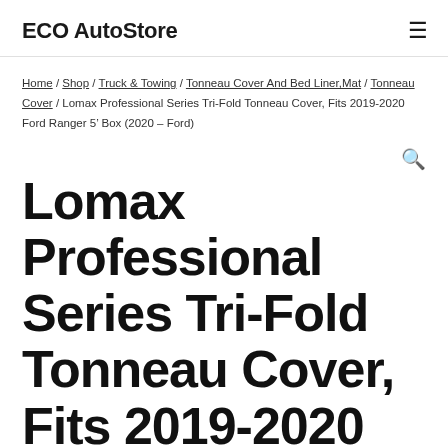ECO AutoStore
Home / Shop / Truck & Towing / Tonneau Cover And Bed Liner,Mat / Tonneau Cover / Lomax Professional Series Tri-Fold Tonneau Cover, Fits 2019-2020 Ford Ranger 5’ Box (2020 – Ford)
Lomax Professional Series Tri-Fold Tonneau Cover, Fits 2019-2020 Ford Ranger 5’ Box (2020 – Ford)